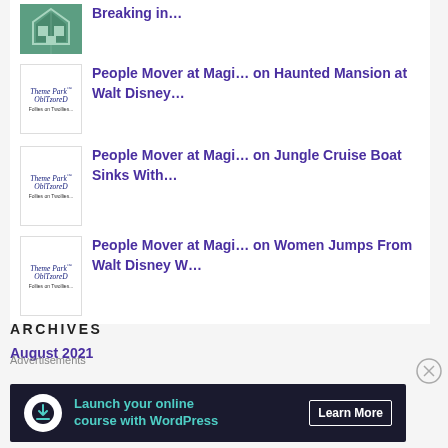Breaking in…
People Mover at Magi… on Haunted Mansion at Walt Disney…
People Mover at Magi… on Jungle Cruise Boat Sinks With…
People Mover at Magi… on Women Jumps From Walt Disney W…
ARCHIVES
August 2021
Advertisements
[Figure (screenshot): Ad banner: Launch your online course with WordPress — Learn More button, dark background with teal text]